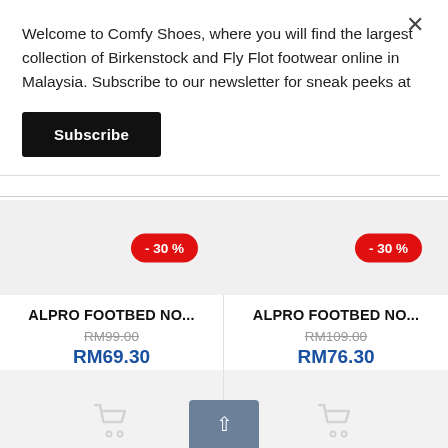Welcome to Comfy Shoes, where you will find the largest collection of Birkenstock and Fly Flot footwear online in Malaysia. Subscribe to our newsletter for sneak peeks at
Subscribe
- 30 %
ALPRO FOOTBED NO...
RM99.00
RM69.30
- 30 %
ALPRO FOOTBED NO...
RM109.00
RM76.30